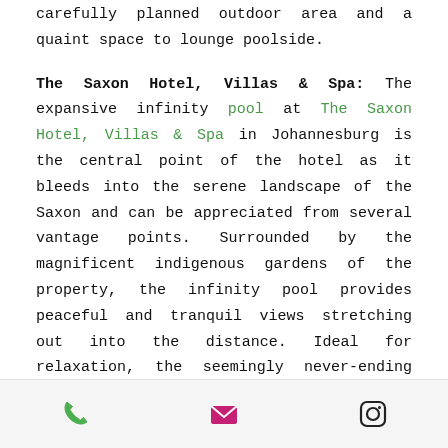carefully planned outdoor area and a quaint space to lounge poolside.
The Saxon Hotel, Villas & Spa: The expansive infinity pool at The Saxon Hotel, Villas & Spa in Johannesburg is the central point of the hotel as it bleeds into the serene landscape of the Saxon and can be appreciated from several vantage points. Surrounded by the magnificent indigenous gardens of the property, the infinity pool provides peaceful and tranquil views stretching out into the distance. Ideal for relaxation, the seemingly never-ending pool and terrace is a great spot to relax, watch the sunset and admire the nearby well-
[phone icon] [mail icon] [instagram icon]